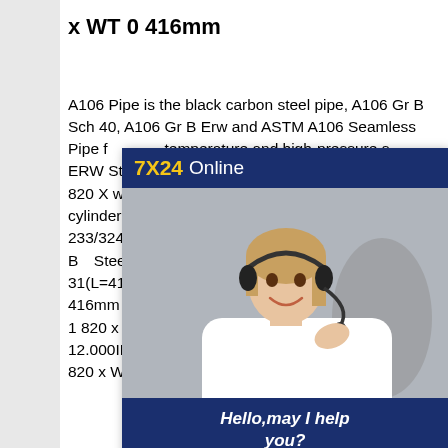x WT 0 416mm
A106 Pipe is the black carbon steel pipe, A106 Gr B Sch 40, A106 Gr B Erw and ASTM A106 Seamless Pipe for high temperature and high-pressure service. ERW Steel Pipe OD 1 820 x WT 0 erw steel pipe od 1 820 X wt 0 41 china manufacturer pipe tee steel cylinder using cold drawn seamless pipes;admin - 233/324 - M24 x 66 steel CMU 1,6 T N° 252200024 B Steel Pipe OD 1 820 x WT 0 416m R1605-104-31(L=416MM) ERW Steel Pipe OD 1 820 x WT 0 416mm 0.540 in IDX0.914 in OD ERW Steel Pipe OD 1 820 x WT 0 416mmadmin - 220/324 - Y-2341-1 12.000ID * 16.250OD *3.750 ERW Steel Pipe OD 1 820 x WT 0 416mm
[Figure (photo): Customer service representative with headset, overlaid on a dark blue chat widget showing '7X24 Online', 'Hello, may I help you?', and a 'Get Latest Price' button]